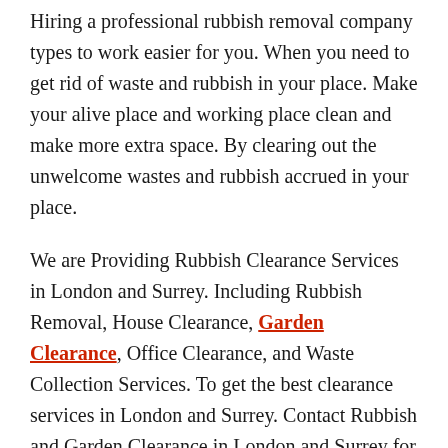Hiring a professional rubbish removal company types to work easier for you. When you need to get rid of waste and rubbish in your place. Make your alive place and working place clean and make more extra space. By clearing out the unwelcome wastes and rubbish accrued in your place.
We are Providing Rubbish Clearance Services in London and Surrey. Including Rubbish Removal, House Clearance, Garden Clearance, Office Clearance, and Waste Collection Services. To get the best clearance services in London and Surrey. Contact Rubbish and Garden Clearance in London and Surrey for any type of rubbish clearance activities.